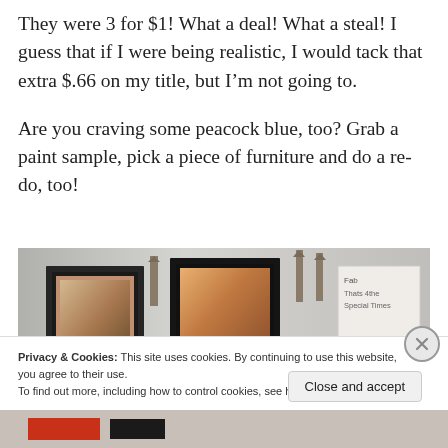They were 3 for $1!  What a deal!  What a steal!  I guess that if I were being realistic, I would tack that extra $.66 on my title, but I'm not going to.
Are you craving some peacock blue, too?  Grab a paint sample, pick a piece of furniture and do a re-do, too!
[Figure (photo): Photo of picture frames on a shelf with candle sconces and a handwritten sign in the background]
Privacy & Cookies: This site uses cookies. By continuing to use this website, you agree to their use.
To find out more, including how to control cookies, see here: Cookie Policy
Close and accept